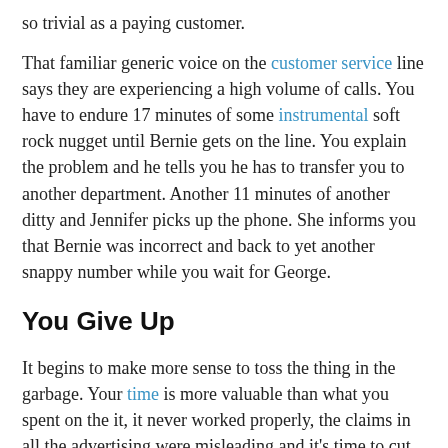so trivial as a paying customer.
That familiar generic voice on the customer service line says they are experiencing a high volume of calls. You have to endure 17 minutes of some instrumental soft rock nugget until Bernie gets on the line. You explain the problem and he tells you he has to transfer you to another department. Another 11 minutes of another ditty and Jennifer picks up the phone. She informs you that Bernie was incorrect and back to yet another snappy number while you wait for George.
You Give Up
It begins to make more sense to toss the thing in the garbage. Your time is more valuable than what you spent on the it, it never worked properly, the claims in all the advertising were misleading and it's time to cut the bait.
Clearly many of us are giving terrible service. Is that really the best way for us to turn our economy around? Should we not give a crap and hope people buy our stuff? If we really